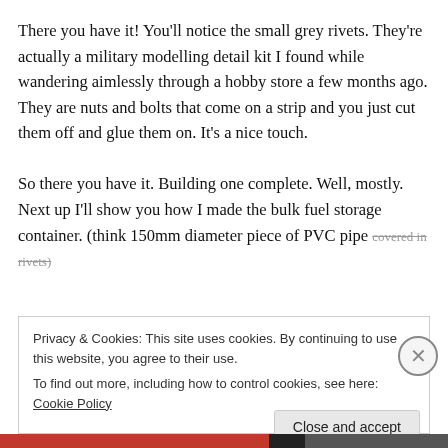There you have it!  You'll notice the small grey rivets.  They're actually a military modelling detail kit I found while wandering aimlessly through a hobby store a few months ago.  They are nuts and bolts that come on a strip and you just cut them off and glue them on.  It's a nice touch.

So there you have it.  Building one complete.  Well, mostly.  Next up I'll show you how I made the bulk fuel storage container.  (think 150mm diameter piece of PVC pipe covered in rivets)
Privacy & Cookies: This site uses cookies. By continuing to use this website, you agree to their use.
To find out more, including how to control cookies, see here: Cookie Policy
Close and accept